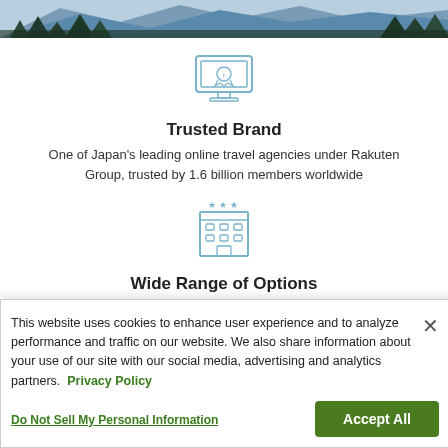[Figure (photo): Mountain and pine tree landscape photo strip at the top of the page]
[Figure (illustration): Icon of a laptop/monitor with a ribbon/award badge, rendered in light blue outline style]
Trusted Brand
One of Japan's leading online travel agencies under Rakuten Group, trusted by 1.6 billion members worldwide
[Figure (illustration): Icon of a hotel/building with three stars above it, rendered in light blue outline style]
Wide Range of Options
This website uses cookies to enhance user experience and to analyze performance and traffic on our website. We also share information about your use of our site with our social media, advertising and analytics partners. Privacy Policy
Do Not Sell My Personal Information
Accept All